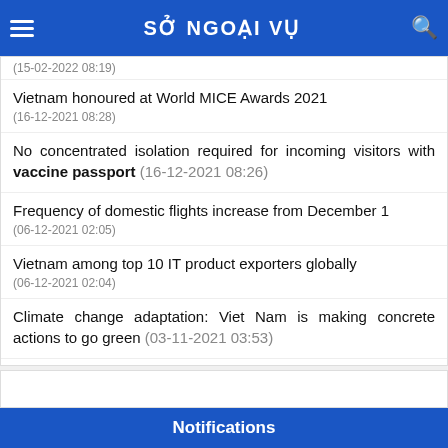SỞ NGOẠI VỤ
(15-02-2022 08:19)
Vietnam honoured at World MICE Awards 2021 (16-12-2021 08:28)
No concentrated isolation required for incoming visitors with vaccine passport (16-12-2021 08:26)
Frequency of domestic flights increase from December 1 (06-12-2021 02:05)
Vietnam among top 10 IT product exporters globally (06-12-2021 02:04)
Climate change adaptation: Viet Nam is making concrete actions to go green (03-11-2021 03:53)
ASEAN leaders appreciate Japan's support for COVID-19 fight (03-11-2021 03:49)
Notifications